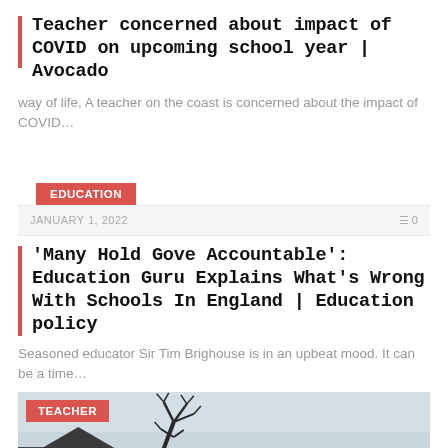Teacher concerned about impact of COVID on upcoming school year | Avocado
way of life, A teacher on the coast is concerned about the impact of COVID…
EDUCATION
JANUARY 1, 2022    0
'Many Hold Gove Accountable': Education Guru Explains What's Wrong With Schools In England | Education policy
Seasoned educator Sir Tim Brighouse is in an upbeat mood. It can be a time…
[Figure (photo): Photo showing bare tree branches against a grey sky, with a TEACHER category badge overlay]